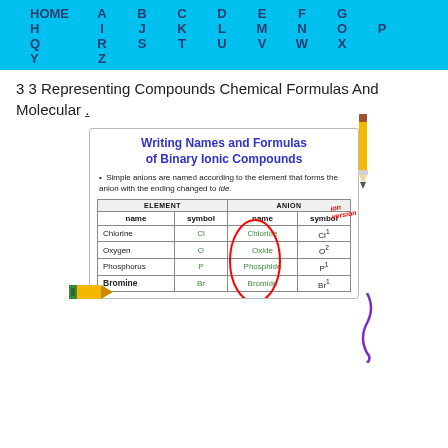HOME A B C D E F G H I J K L M N O P Q R S T U V W X Y Z
3 3 Representing Compounds Chemical Formulas And Molecular .
[Figure (illustration): Slide titled 'Writing Names and Formulas of Binary Ionic Compounds' with a table showing elements and their corresponding anion names and symbols. Columns: Element name, Element symbol, Anion name, Anion symbol. Rows: Chlorine/Cl/Chloride/Cl-1, Oxygen/O/Oxide/O-2, Phosphorus/P/Phosphide/P-1, Bromine/Br/Bromide/Br-1. Decorated with pencil, crayon, and red circle annotation and handwritten 'ion version' text.]